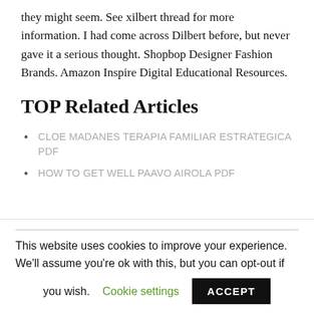they might seem. See xilbert thread for more information. I had come across Dilbert before, but never gave it a serious thought. Shopbop Designer Fashion Brands. Amazon Inspire Digital Educational Resources.
TOP Related Articles
CLOE MADANES TERAPIA FAMILIAR ESTRATEGICA PDF
HOW TO GET WELL PAAVO AIROLA PDF
This website uses cookies to improve your experience. We'll assume you're ok with this, but you can opt-out if you wish. Cookie settings ACCEPT